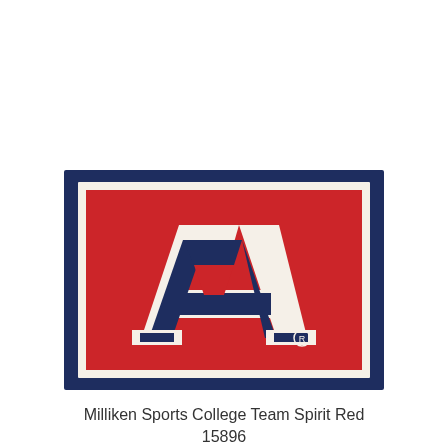[Figure (illustration): University of Arizona Wildcats rug/mat product image showing the block letter A logo in red, white, and navy blue on a navy blue bordered rectangular rug]
Milliken Sports College Team Spirit Red 15896
$69.00 - $599.95
BUY NOW ▶